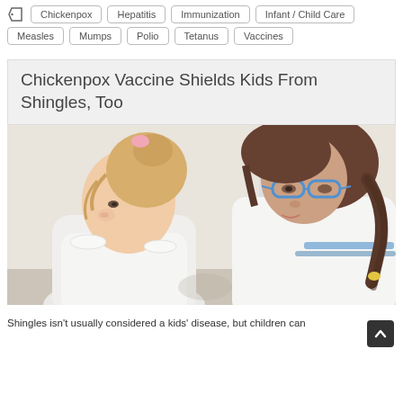Chickenpox  Hepatitis  Immunization  Infant / Child Care
Measles  Mumps  Polio  Tetanus  Vaccines
Chickenpox Vaccine Shields Kids From Shingles, Too
[Figure (photo): A young blonde girl in a white top looks down while a woman with dark hair in a braid, wearing blue-rimmed glasses and a white coat, leans over examining her.]
Shingles isn't usually considered a kids' disease, but children can